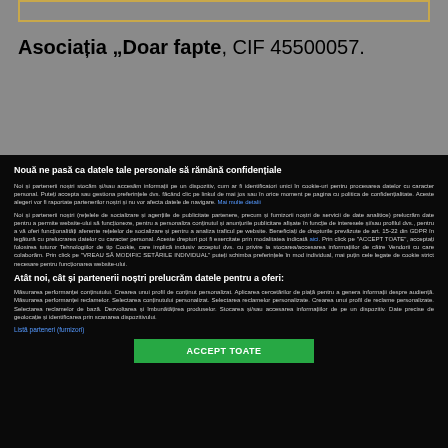Asociația „Doar fapte, CIF 45500057.
Nouă ne pasă ca datele tale personale să rămână confidențiale
Noi și partenerii noștri stocăm și/sau accesăm informații pe un dispozitiv, cum ar fi identificatori unici în cookie-uri pentru procesarea datelor cu caracter personal. Puteți accepta sau gestiona preferințele dvs. făcând clic pe linkul de mai jos sau în orice moment pe pagina cu politica de confidențialitate. Aceste alegeri vor fi raportate partenerilor noștri și nu vor afecta datele de navigare. Mai multe detalii
Noi și partenerii noștri (rețelele de socializare și agențiile de publicitate partenere, precum și furnizorii noștri de servicii de date analitice) prelucrăm date pentru a permite website-ului să funcționeze, pentru a personaliza conținutul și anunțurile publicitare afișate în funcție de interesele și/sau profilul dvs., pentru a vă oferi funcționalități aferente rețelelor de socializare și pentru a analiza traficul pe website. Beneficiați de drepturile prevăzute de art. 15-22 din GDPR în legătură cu prelucrarea datelor cu caracter personal. Aceste drepturi pot fi exercitate prin modalitatea indicată aici. Prin click pe "ACCEPT TOATE", acceptați folosirea tuturor Tehnologiilor de tip Cookie, care implică inclusiv acceptul dvs. cu privire la stocarea/accesarea informațiilor de către Vendorii cu care colaborăm. Prin click pe "VREAU SĂ MODIFIC SETĂRILE INDIVIDUAL" puteți schimba preferințele în mod individual, mai puțin cele legate de cookie strict necesare pentru funcționarea website-ului.
Atât noi, cât și partenerii noștri prelucrăm datele pentru a oferi:
Măsurarea performanței conținutului. Crearea unui profil de conținut personalizat. Aplicarea cercetărilor de piață pentru a genera informații despre audiență. Măsurarea performanței reclamelor. Selectarea conținutului personalizat. Selectarea reclamelor personalizate. Crearea unui profil de reclame personalizate. Selectarea reclamelor de bază. Dezvoltarea și îmbunătățirea produselor. Stocarea și/sau accesarea informațiilor de pe un dispozitiv. Date precise de geolocație și identificarea prin scanarea dispozitivului.
Listă parteneri (furnizori)
ACCEPT TOATE